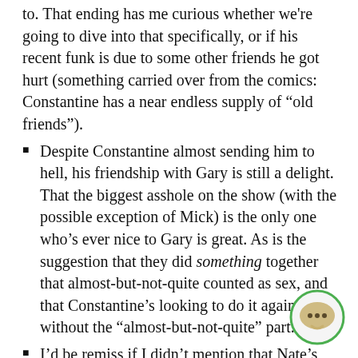to. That ending has me curious whether we're going to dive into that specifically, or if his recent funk is due to some other friends he got hurt (something carried over from the comics: Constantine has a near endless supply of “old friends”).
Despite Constantine almost sending him to hell, his friendship with Gary is still a delight. That the biggest asshole on the show (with the possible exception of Mick) is the only one who's ever nice to Gary is great. As is the suggestion that they did something together that almost-but-not-quite counted as sex, and that Constantine’s looking to do it again, but without the “almost-but-not-quite” part.
I’d be remiss if I didn’t mention that Nate’s dad is played by Thomas F. Wilson, who’s most famous for playing Biff in the Back to the Future movies. What you wanna bet that his new Pentagon job is actually a front for joining the Time Bureau?